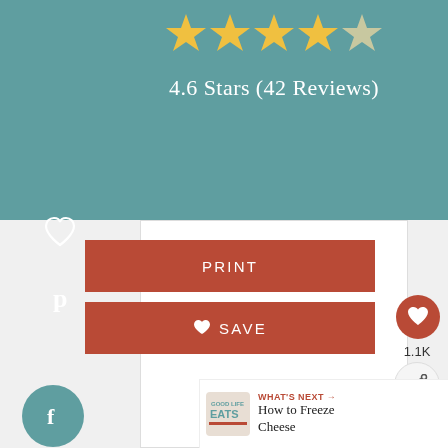[Figure (infographic): Star rating display showing 4 full gold stars and 1 partial (gray) star on teal background]
4.6 Stars (42 Reviews)
[Figure (infographic): Heart icon (favorite/like) outline in white on teal sidebar]
[Figure (infographic): Pinterest P icon outline in white on teal sidebar]
[Figure (infographic): PRINT button in red-brown color]
[Figure (infographic): SAVE button with heart icon in red-brown color]
[Figure (infographic): Facebook icon in teal circle on left sidebar]
[Figure (infographic): Twitter bird icon in teal circle on left sidebar]
[Figure (infographic): Email envelope icon in teal circle on left sidebar]
[Figure (infographic): Floating red heart favorite button with 1.1K count and share icon on right side]
1.1K
WHAT'S NEXT → How to Freeze Cheese